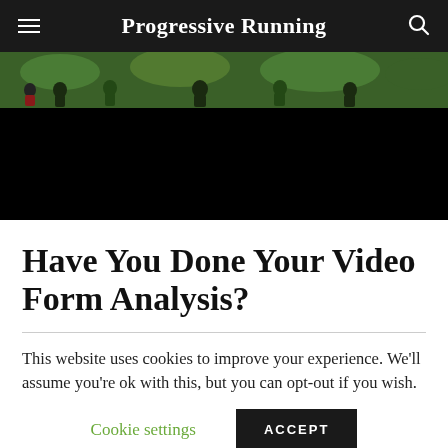Progressive Running
[Figure (photo): Hero image showing runners from behind in a wooded/outdoor setting, partially obscured by black overlay]
Have You Done Your Video Form Analysis?
This website uses cookies to improve your experience. We'll assume you're ok with this, but you can opt-out if you wish.
Cookie settings   ACCEPT